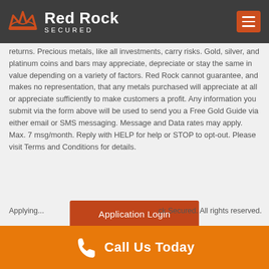Red Rock Secured
returns. Precious metals, like all investments, carry risks. Gold, silver, and platinum coins and bars may appreciate, depreciate or stay the same in value depending on a variety of factors. Red Rock cannot guarantee, and makes no representation, that any metals purchased will appreciate at all or appreciate sufficiently to make customers a profit. Any information you submit via the form above will be used to send you a Free Gold Guide via either email or SMS messaging. Message and Data rates may apply. Max. 7 msg/month. Reply with HELP for help or STOP to opt-out. Please visit Terms and Conditions for details.
Application Login
ment Center
OPEN A GOLD IRA
ck Secured. All rights reserved.
Call Us Today